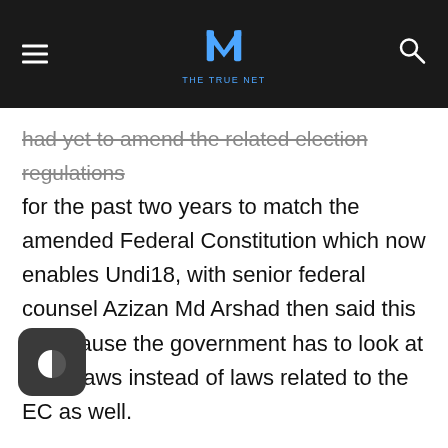THE TRUE NET
had yet to amend the related election regulations for the past two years to match the amended Federal Constitution which now enables Undi18, with senior federal counsel Azizan Md Arshad then said this is because the government has to look at other laws instead of laws related to the EC as well.
Azizan said it was not a simple matter of just extracting data on voters from the NRD for voter registration as there was a need to examine if it would be against data protection laws, and as